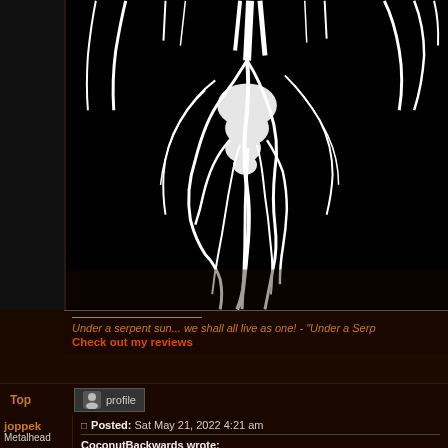[Figure (illustration): Black background with white dripping/branching figure art resembling roots or a melting creature, cropped at top]
Under a serpent sun... we shall all live as one! - "Under a Serp
Check out my reviews
Top
[Figure (other): Profile button with small user icon]
joppek
Metalhead
Joined: Sun Jan 09, 2011
Posted: Sat May 21, 2022 4:21 am
CoconutBackwards wrote: